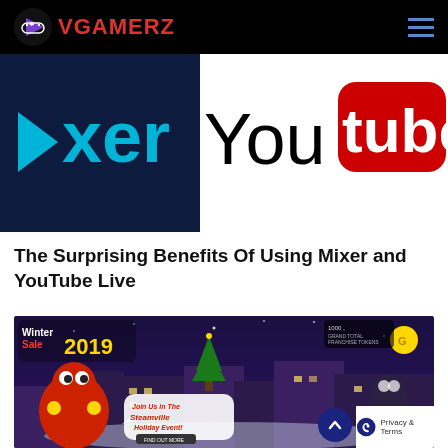VGAMERZ
[Figure (screenshot): Partial logos for Mixer (blue arrow and 'xer' text on dark blue background) and YouTube ('You' in black and 'tube' in white on red background), cropped]
The Surprising Benefits Of Using Mixer and YouTube Live
[Figure (screenshot): Winter Sale 2019 promotional banner for a game, featuring a cartoon character, a snowy nighttime village scene, and text 'Join Us in The Steamville Holiday Event!']